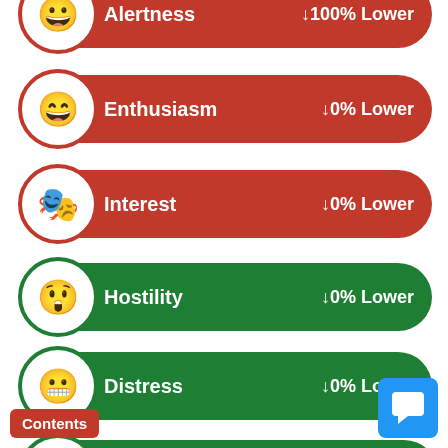[Figure (infographic): Alertness bar (partially cropped at top): red pill-shaped bar with emoji icon, label 'Alertness', value '↓100% Lower']
[Figure (infographic): Enthusiasm bar: red pill-shaped bar with smiley emoji icon, label 'Enthusiasm', value '↓0% Lower']
[Figure (infographic): Interest bar: red pill-shaped bar with theater mask emoji icon, label 'Interest', value '↓0% Lower']
[Figure (infographic): Hostility bar: green pill-shaped bar with angry emoji icon, label 'Hostility', value '↓0% Lower']
[Figure (infographic): Distress bar: green pill-shaped bar with worried emoji icon, label 'Distress', value '↓0% Lower']
[Figure (infographic): Excitability bar: green pill-shaped bar with excited emoji icon, label 'Excitability', value '↑120% Higher']
[Figure (infographic): Guiltiness bar: green pill-shaped bar with crying emoji icon, label 'Guiltiness', value '↓32% Lower']